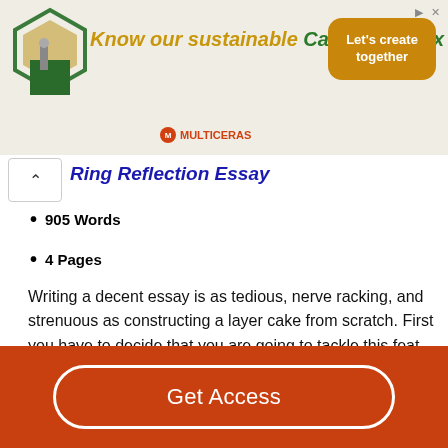[Figure (other): Advertisement banner for Candelilla Wax by Multiceras, showing hexagon logo, tagline 'Know our sustainable Candelilla Wax', CTA button 'Let's create together']
Ring Reflection Essay
905 Words
4 Pages
Writing a decent essay is as tedious, nerve racking, and strenuous as constructing a layer cake from scratch. First you have to decide that you are going to tackle this feat, and that can be your biggest challenge, motivation. Then you have, you must figure out what kind of cake batter you want to use. Collect all the ingredients to mesh together well, making each layer at a time. You throw all the layers together hoping that somehow they will come together to form a nifty design. But, they don't
Get Access